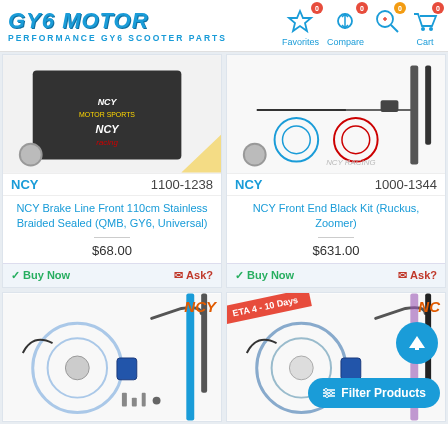GY6 MOTOR - PERFORMANCE GY6 SCOOTER PARTS | Favorites 0 | Compare 0 | Search | Cart 0
[Figure (screenshot): Product listing for NCY Brake Line Front 110cm Stainless Braided Sealed (QMB, GY6, Universal) - SKU 1100-1238, $68.00]
[Figure (screenshot): Product listing for NCY Front End Black Kit (Ruckus, Zoomer) - SKU 1000-1344, $631.00]
[Figure (screenshot): Partial product card bottom row left - NCY brand front end kit components photo]
[Figure (screenshot): Partial product card bottom row right - ETA 4-10 Days ribbon, NCY brand front end kit components photo]